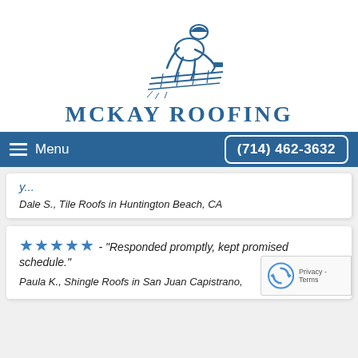[Figure (logo): McKay Roofing logo: blue illustration of a roofer kneeling and hammering shingles, with 'MCKAY ROOFING' text below in blue serif font]
Menu   (714) 462-3632
Dale S., Tile Roofs in Huntington Beach, CA
★★★★★ - "Responded promptly, kept promised schedule."
Paula K., Shingle Roofs in San Juan Capistrano,